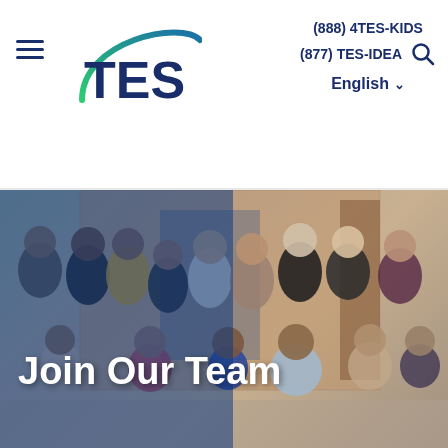(888) 4TES-KIDS | (877) TES-IDEA | English
[Figure (logo): TES logo with arc design in teal/green and dark blue text]
[Figure (photo): Group photo of TES team members posing outside in front of a brick building, overlaid with a blue tint on the left side]
Join Our Team